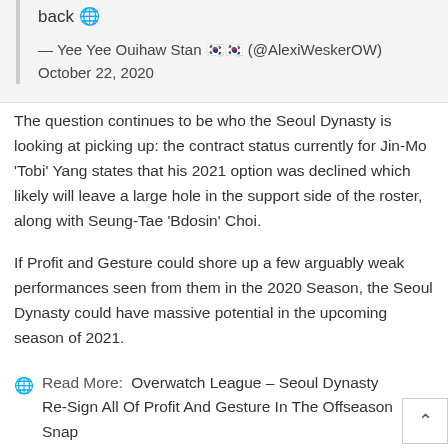back 🌐
— Yee Yee Ouihaw Stan 🇰🇷🇰🇷 (@AlexiWeskerOW) October 22, 2020
The question continues to be who the Seoul Dynasty is looking at picking up: the contract status currently for Jin-Mo 'Tobi' Yang states that his 2021 option was declined which likely will leave a large hole in the support side of the roster, along with Seung-Tae 'Bdosin' Choi.
If Profit and Gesture could shore up a few arguably weak performances seen from them in the 2020 Season, the Seoul Dynasty could have massive potential in the upcoming season of 2021.
🌐 Read More: Overwatch League – Seoul Dynasty Re-Sign All Of Profit And Gesture In The Offseason Snap